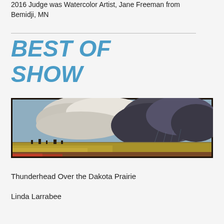2016 Judge was Watercolor Artist, Jane Freeman from Bemidji, MN
BEST OF SHOW
[Figure (photo): A landscape painting showing a thunderhead storm cloud over a flat Dakota prairie with golden fields and small trees on the horizon, framed in dark wood.]
Thunderhead Over the Dakota Prairie
Linda Larrabee